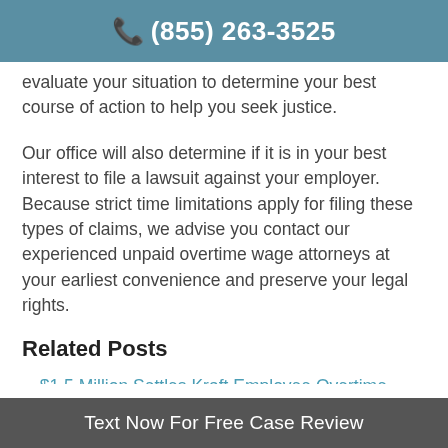(855) 263-3525
evaluate your situation to determine your best course of action to help you seek justice.
Our office will also determine if it is in your best interest to file a lawsuit against your employer. Because strict time limitations apply for filing these types of claims, we advise you contact our experienced unpaid overtime wage attorneys at your earliest convenience and preserve your legal rights.
Related Posts
$1.5 Million Settles Kraft Employee Overtime Lawsuit
Home Health Ohio Overtime Lawsuit Against Maxim Healthcare Services
Text Now For Free Case Review